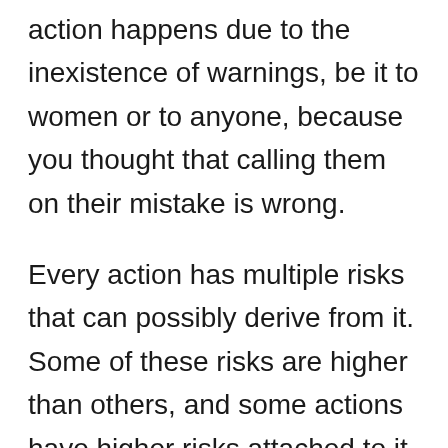action happens due to the inexistence of warnings, be it to women or to anyone, because you thought that calling them on their mistake is wrong.
Every action has multiple risks that can possibly derive from it. Some of these risks are higher than others, and some actions have higher risks attached to it. People usually prepare for harmful risks according to how high they are depending on the action that needs to be taken. If the risk of something bad is known as being too high, the action should not be taken whatsoever.